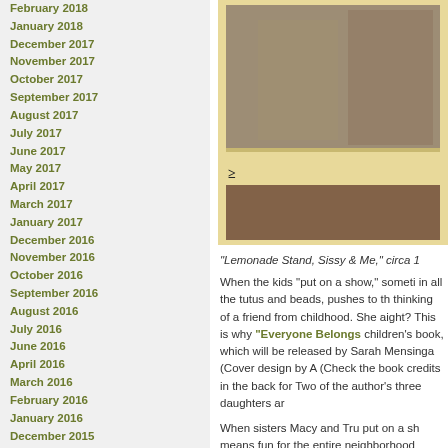February 2018
January 2018
December 2017
November 2017
October 2017
September 2017
August 2017
July 2017
June 2017
May 2017
April 2017
March 2017
January 2017
December 2016
November 2016
October 2016
September 2016
August 2016
July 2016
June 2016
April 2016
March 2016
February 2016
January 2016
December 2015
November 2015
October 2015
September 2015
August 2015
July 2015
June 2015
April 2015
March 2015
February 2015
January 2015
December 2014
November 2014
October 2014
[Figure (photo): Vintage photo showing a lemonade stand scene, framed image with yellowish border]
“Lemonade Stand, Sissy & Me,” circa 1
When the kids “put on a show,” someti in all the tutus and beads, pushes to th thinking of a friend from childhood. She aight? This is why “Everyone Belongs” children’s book, which will be released by Sarah Mensinga (Cover design by A (Check the book credits in the back for Two of the author’s three daughters ar
When sisters Macy and Tru put on a sh means fun for the entire neighborhood